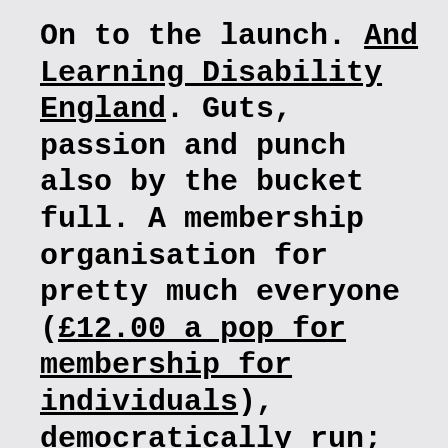On to the launch. And Learning Disability England. Guts, passion and punch also by the bucket full. A membership organisation for pretty much everyone (£12.00 a pop for membership for individuals), democratically run; e.g. no big decision will be made unless 1/3 of the vote is from learning disabled members… Wow. A wow moment that so shouldn't wow in 2016. Underpinning principles; challenging, empowering, being creative